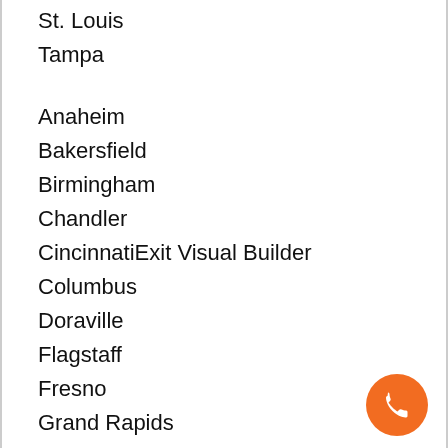St. Louis
Tampa
Anaheim
Bakersfield
Birmingham
Chandler
CincinnatiExit Visual Builder
Columbus
Doraville
Flagstaff
Fresno
Grand Rapids
Irvine